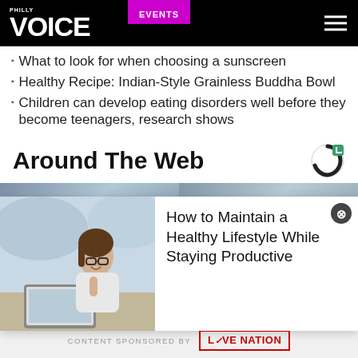PHILLY VOICE | EVENTS
What to look for when choosing a sunscreen
Healthy Recipe: Indian-Style Grainless Buddha Bowl
Children can develop eating disorders well before they become teenagers, research shows
Around The Web
[Figure (photo): Two side-by-side article thumbnail images below the Around The Web heading]
[Figure (photo): Ad overlay showing a woman working at a laptop with glasses, smiling]
How to Maintain a Healthy Lifestyle While Staying Productive
[Figure (photo): Green food/vegetable background image strip]
CONTENT SPONSORED BY LIVE NATION